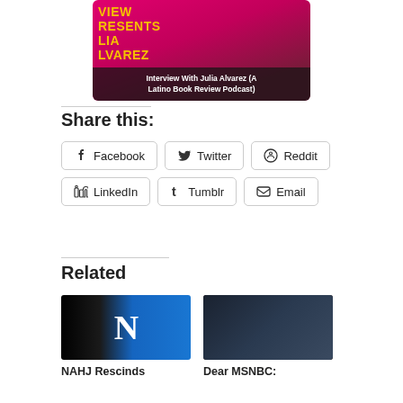[Figure (photo): Interview With Julia Alvarez (A Latino Book Review Podcast) cover image with pink/magenta background and text overlay]
Share this:
Facebook
Twitter
Reddit
LinkedIn
Tumblr
Email
Related
[Figure (photo): NAHJ logo image with large white N on blue/black background]
NAHJ Rescinds
[Figure (photo): MSNBC news studio screenshot with anchor at desk and multiple screens in background]
Dear MSNBC: